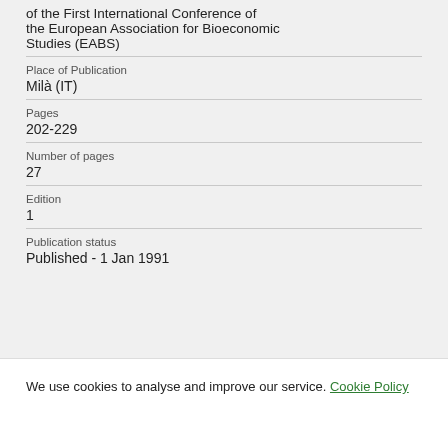of the First International Conference of the European Association for Bioeconomic Studies (EABS)
Place of Publication
Milà (IT)
Pages
202-229
Number of pages
27
Edition
1
Publication status
Published - 1 Jan 1991
We use cookies to analyse and improve our service. Cookie Policy